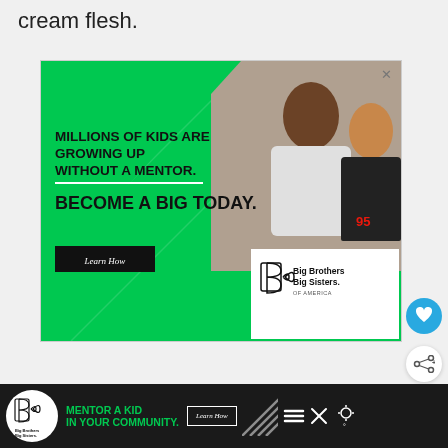cream flesh.
[Figure (infographic): Big Brothers Big Sisters of America advertisement. Green background with photo of adult mentor and child. Text: 'MILLIONS OF KIDS ARE GROWING UP WITHOUT A MENTOR. BECOME A BIG TODAY.' with 'Learn How' button and BBBS logo. X close button in top right.]
[Figure (infographic): Bottom banner ad: Big Brothers Big Sisters of America. Dark background with circular BBBS logo, green text 'MENTOR A KID IN YOUR COMMUNITY.', Learn How button, diagonal lines graphic, hamburger menu icon, X close button, weather icon.]